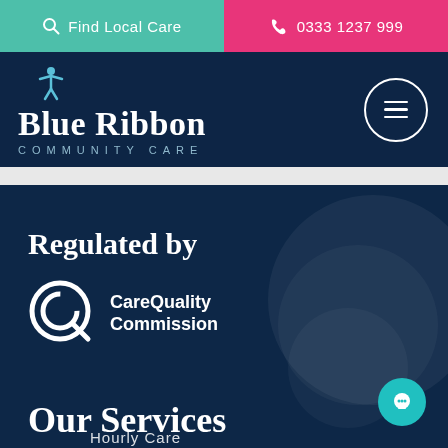Find Local Care | 0333 1237 999
[Figure (logo): Blue Ribbon Community Care logo with person icon and hamburger menu button]
Regulated by
[Figure (logo): Care Quality Commission logo — circular Q icon with CareQuality Commission text]
Our Services
Hourly Care